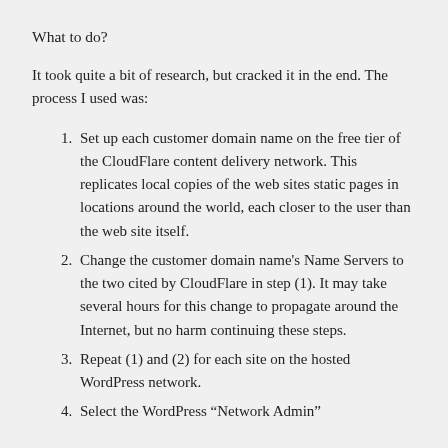What to do?
It took quite a bit of research, but cracked it in the end. The process I used was:
Set up each customer domain name on the free tier of the CloudFlare content delivery network. This replicates local copies of the web sites static pages in locations around the world, each closer to the user than the web site itself.
Change the customer domain name's Name Servers to the two cited by CloudFlare in step (1). It may take several hours for this change to propagate around the Internet, but no harm continuing these steps.
Repeat (1) and (2) for each site on the hosted WordPress network.
Select the WordPress “Network Admin”